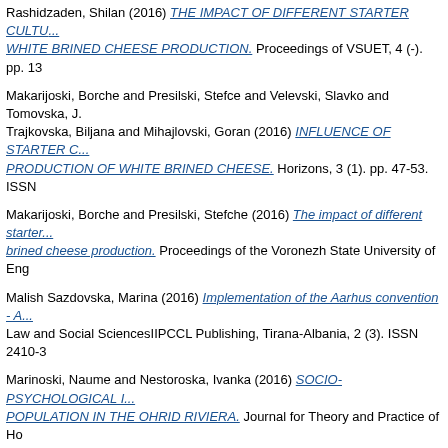Rashidzaden, Shilan (2016) THE IMPACT OF DIFFERENT STARTER CULTURES ON WHITE BRINED CHEESE PRODUCTION. Proceedings of VSUET, 4 (-). pp. 13
Makarijoski, Borche and Presilski, Stefce and Velevski, Slavko and Tomovska, J. Trajkovska, Biljana and Mihajlovski, Goran (2016) INFLUENCE OF STARTER C... PRODUCTION OF WHITE BRINED CHEESE. Horizons, 3 (1). pp. 47-53. ISSN
Makarijoski, Borche and Presilski, Stefche (2016) The impact of different starter... brined cheese production. Proceedings of the Voronezh State University of Eng
Malish Sazdovska, Marina (2016) Implementation of the Aarhus convention - A... Law and Social SciencesIIPCCL Publishing, Tirana-Albania, 2 (3). ISSN 2410-3
Marinoski, Naume and Nestoroska, Ivanka (2016) SOCIO-PSYCHOLOGICAL I... POPULATION IN THE OHRID RIVIERA. Journal for Theory and Practice of Ho
Marjanović, Strahinja and Radivojev, Dejan (2016) APPLICATION METHOD FO... THE PROCESSING OF THE CASE STUDIES. Horizons. ISSN 1857-9892
Markovska, B. and Pavlova, Valentina and Menkinoska, Marija and Blazevska,... infant nutrition. KNOWLEDGE International Journal Scientific papers. pp. 273-2
Markusoski, Ljupce and Jovanoska, Aleksandra (2016) THE ROLE OF INFORM... MANAGEMENT. International Balkan and Near Eastern Social Sciences Confer
Martinovski, Sasko (2016) NUTRITION BUSINESS MODELS OF CONSUMER... EXPLANATORY FOOD PRODUCTS. Journal of Hygienic Engineering and Des
Martinovski, Sasko (2016) Self-Explanatory Nutrition Business Models of Consu... Management Invention. ISSN ISSN (Online): 2319-8028, ISSN (Print): 2319-80
Matović, Vitomir and Dobrodolac, Momčilo (2016) FORECASTING THE NUMB